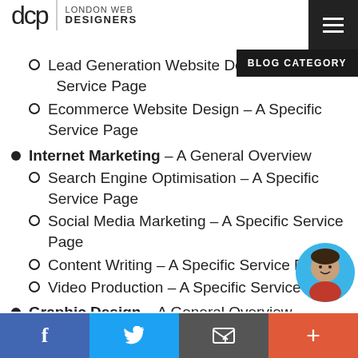dcp | LONDON WEB DESIGNERS
Lead Generation Website Design – A Specific Service Page
Ecommerce Website Design – A Specific Service Page
Internet Marketing – A General Overview
Search Engine Optimisation – A Specific Service Page
Social Media Marketing – A Specific Service Page
Content Writing – A Specific Service Page
Video Production – A Specific Service Page
Graphic Design – A General Overview
Logo Design – A Specific Service Page
Newsletter Design – A Specific Service Page
f | Twitter | email | +